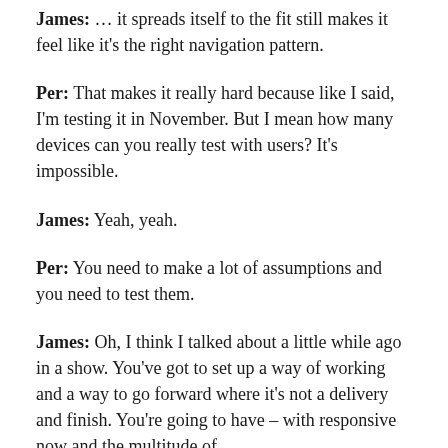James: … it spreads itself to the fit still makes it feel like it's the right navigation pattern.
Per: That makes it really hard because like I said, I'm testing it in November. But I mean how many devices can you really test with users? It's impossible.
James: Yeah, yeah.
Per: You need to make a lot of assumptions and you need to test them.
James: Oh, I think I talked about a little while ago in a show. You've got to set up a way of working and a way to go forward where it's not a delivery and finish. You're going to have – with responsive now and the multitude of